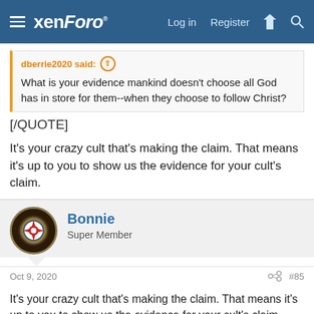xenForo · Log in · Register
dberrie2020 said:
What is your evidence mankind doesn't choose all God has in store for them--when they choose to follow Christ?
[/QUOTE]
It's your crazy cult that's making the claim. That means it's up to you to show us the evidence for your cult's claim.
Bonnie
Super Member
Oct 9, 2020
#85
It's your crazy cult that's making the claim. That means it's up to you to show us the evidence for your cult's claim.
[/QUOTE]
This is true. The burden of proof is on THEM, not US.